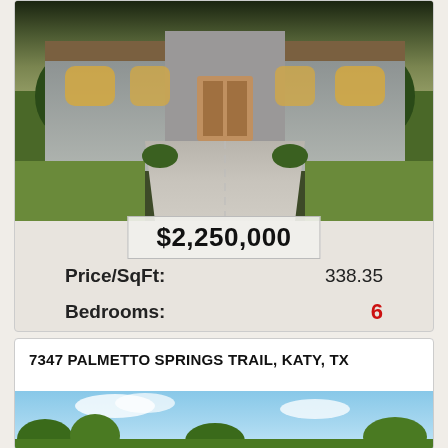[Figure (photo): Luxury home with grand driveway, symmetrical facade, arched windows, and landscaped front yard, photographed at dusk]
$2,250,000
Price/SqFt:   338.35
Bedrooms:   6
SqFt:   6,650
7347 PALMETTO SPRINGS TRAIL, KATY, TX
[Figure (photo): Second property photo showing sky and trees]